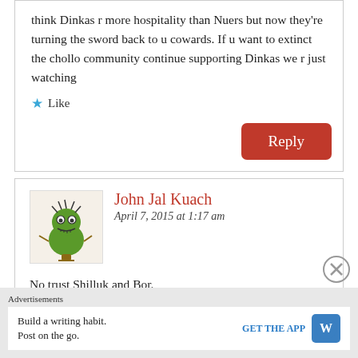think Dinkas r more hospitality than Nuers but now they're turning the sword back to u cowards. If u want to extinct the chollo community continue supporting Dinkas we r just watching
Like
Reply
John Jal Kuach
April 7, 2015 at 1:17 am
[Figure (illustration): Green cartoon monster avatar with wild hair and big eyes]
No trust Shilluk and Bor.
Advertisements
Build a writing habit. Post on the go.
GET THE APP